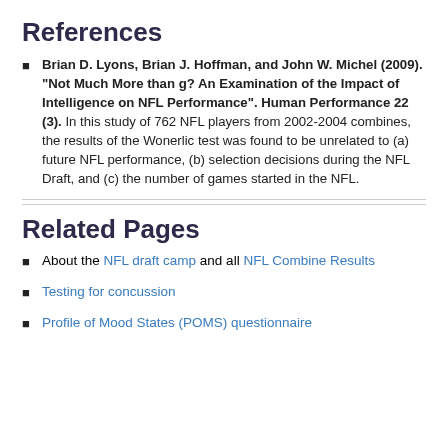References
Brian D. Lyons, Brian J. Hoffman, and John W. Michel (2009). "Not Much More than g? An Examination of the Impact of Intelligence on NFL Performance". Human Performance 22 (3). In this study of 762 NFL players from 2002-2004 combines, the results of the Wonerlic test was found to be unrelated to (a) future NFL performance, (b) selection decisions during the NFL Draft, and (c) the number of games started in the NFL.
Related Pages
About the NFL draft camp and all NFL Combine Results
Testing for concussion
Profile of Mood States (POMS) questionnaire